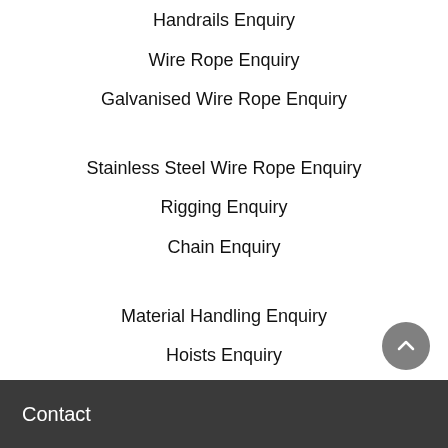Handrails Enquiry
Wire Rope Enquiry
Galvanised Wire Rope Enquiry
Stainless Steel Wire Rope Enquiry
Rigging Enquiry
Chain Enquiry
Material Handling Enquiry
Hoists Enquiry
Tube & Fittings Enquiry
Contact